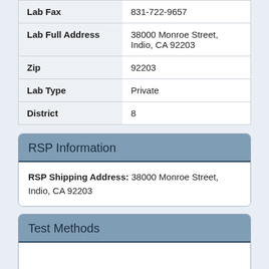| Field | Value |
| --- | --- |
| Lab Fax | 831-722-9657 |
| Lab Full Address | 38000 Monroe Street, Indio, CA 92203 |
| Zip | 92203 |
| Lab Type | Private |
| District | 8 |
RSP Information
RSP Shipping Address: 38000 Monroe Street, Indio, CA 92203
Test Methods